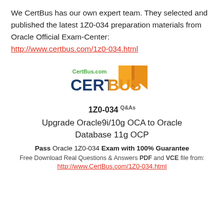We CertBus has our own expert team. They selected and published the latest 1Z0-034 preparation materials from Oracle Official Exam-Center:
http://www.certbus.com/1z0-034.html
[Figure (logo): CertBus logo with orange book/flag icon and CertBus.com text above in green]
1Z0-034 Q&As
Upgrade Oracle9i/10g OCA to Oracle Database 11g OCP
Pass Oracle 1Z0-034 Exam with 100% Guarantee
Free Download Real Questions & Answers PDF and VCE file from:
http://www.CertBus.com/1Z0-034.html